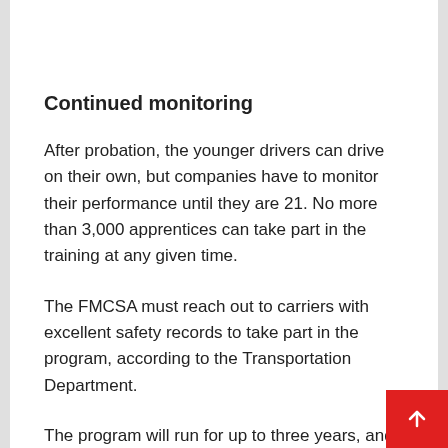Continued monitoring
After probation, the younger drivers can drive on their own, but companies have to monitor their performance until they are 21. No more than 3,000 apprentices can take part in the training at any given time.
The FMCSA must reach out to carriers with excellent safety records to take part in the program, according to the Transportation Department.
The program will run for up to three years, and th